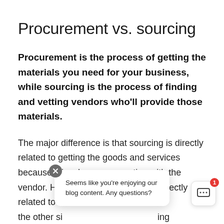Procurement vs. sourcing
Procurement is the process of getting the materials you need for your business, while sourcing is the process of finding and vetting vendors who'll provide those materials.
The major difference is that sourcing is directly related to getting the goods and services because it involves a connection with the vendor. However, procurement is indirectly related to t W the other si ing
Seems like you're enjoying our blog content. Any questions?